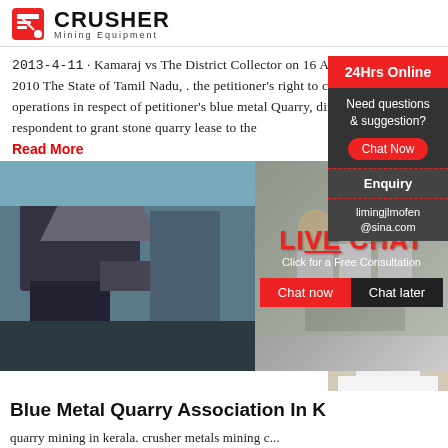CRUSHER Mining Equipment
2013-4-11 · Kamaraj vs The District Collector on 16 April, 2010. 16 Apr 2010 The State of Tamil Nadu, . the petitioner's right to continue quarry operations in respect of petitioner's blue metal Quarry, directing the respondent to grant stone quarry lease to the
Read More
[Figure (photo): Live chat overlay with construction workers and customer service representative, with 'LIVE CHAT - Click for a Free Consultation' and Chat now / Chat later buttons. Right sidebar shows 24Hrs Online, Need questions & suggestion? Chat Now, Enquiry, limingjlmofen@sina.com]
Blue Metal Quarry Association In K
quarry mining in kerala. crusher metals mining c... contact kerala metal quarry mining in kerala co... number,, is one of the biggest manufacturers in ... Processing Machinery for the rock crushing unit... district, sand gravel, quarry, chat online marble quarries in